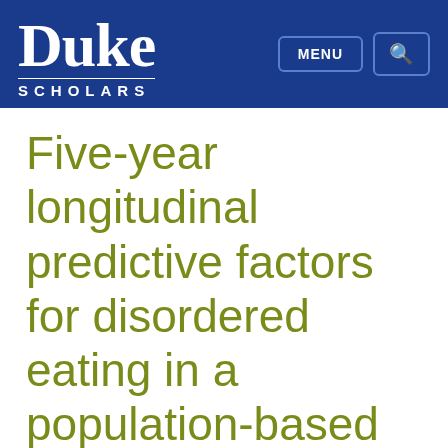Duke Scholars
Five-year longitudinal predictive factors for disordered eating in a population-based sample of overweight adolescents: